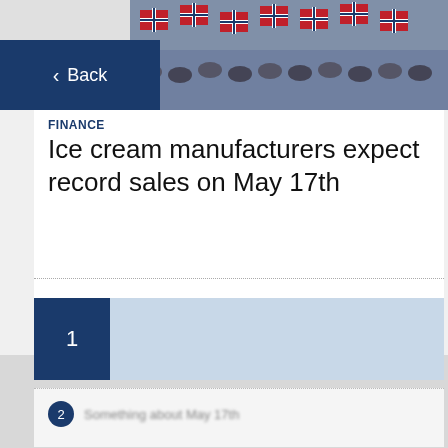[Figure (photo): Crowd of people waving Norwegian flags at a celebration event]
Back
FINANCE
Ice cream manufacturers expect record sales on May 17th
1
2 [partially visible article link]